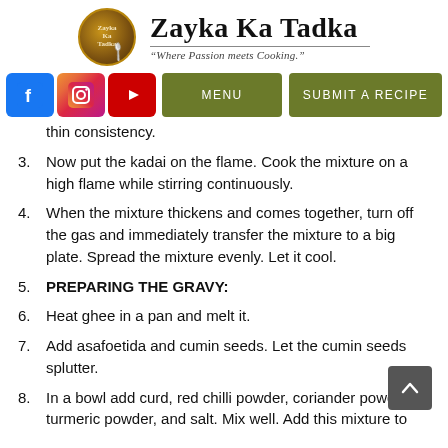Zayka Ka Tadka — "Where Passion meets Cooking."
[Figure (logo): Zayka Ka Tadka circular logo with spoon motif and golden-brown coloring]
thin consistency.
3. Now put the kadai on the flame. Cook the mixture on a high flame while stirring continuously.
4. When the mixture thickens and comes together, turn off the gas and immediately transfer the mixture to a big plate. Spread the mixture evenly. Let it cool.
5. PREPARING THE GRAVY:
6. Heat ghee in a pan and melt it.
7. Add asafoetida and cumin seeds. Let the cumin seeds splutter.
8. In a bowl add curd, red chilli powder, coriander powder, turmeric powder, and salt. Mix well. Add this mixture to